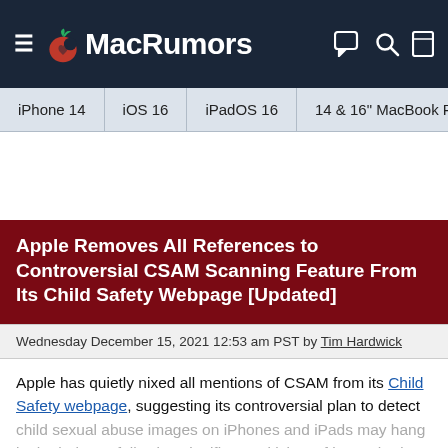MacRumors
iPhone 14 | iOS 16 | iPadOS 16 | 14 & 16" MacBook P
Apple Removes All References to Controversial CSAM Scanning Feature From Its Child Safety Webpage [Updated]
Wednesday December 15, 2021 12:53 am PST by Tim Hardwick
Apple has quietly nixed all mentions of CSAM from its Child Safety webpage, suggesting its controversial plan to detect child sexual abuse images on iPhones and iPads may hang in the balance following significant criticism of its methods.